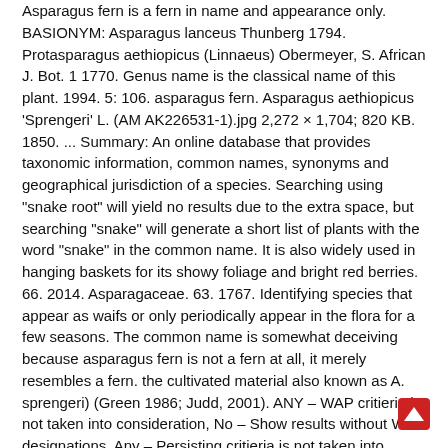Asparagus fern is a fern in name and appearance only. BASIONYM: Asparagus lanceus Thunberg 1794. Protasparagus aethiopicus (Linnaeus) Obermeyer, S. African J. Bot. 1 1770. Genus name is the classical name of this plant. 1994. 5: 106. asparagus fern. Asparagus aethiopicus 'Sprengeri' L. (AM AK226531-1).jpg 2,272 × 1,704; 820 KB. 1850. ... Summary: An online database that provides taxonomic information, common names, synonyms and geographical jurisdiction of a species. Searching using "snake root" will yield no results due to the extra space, but searching "snake" will generate a short list of plants with the word "snake" in the common name. It is also widely used in hanging baskets for its showy foliage and bright red berries. 66. 2014. Asparagaceae. 63. 1767. Identifying species that appear as waifs or only periodically appear in the flora for a few seasons. The common name is somewhat deceiving because asparagus fern is not a fern at all, it merely resembles a fern. the cultivated material also known as A. sprengeri) (Green 1986; Judd, 2001). ANY – WAP critieria is not taken into consideration, No – Show results without WAP designations, Any – Persisting critieria is not taken into consideration, Yes – Show results with a Persisting value of, No – Show results without Persisting value of. Asparagus sprengeri Regel, Gartenflora 1890: 490, f. 80. Previously considered to be … 1850. Asparagus maximus Voss Asparagus sprengeri Regel Protasparagus aethiopicus (L.) Oberm. Obligate Wetland. For example, matching the full name exactly in a Scient Name search for Piptochaetium avenacioides may be difficult, bi strings of either tium aven or avenaci or m avenac or pipto will all